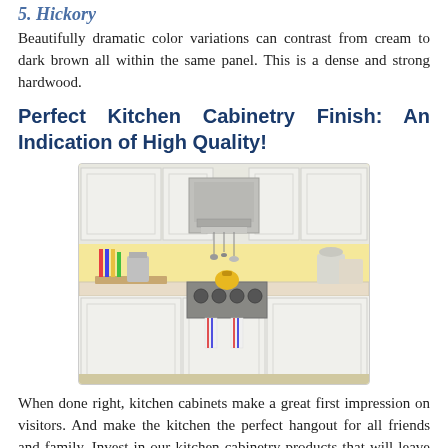5. Hickory
Beautifully dramatic color variations can contrast from cream to dark brown all within the same panel. This is a dense and strong hardwood.
Perfect Kitchen Cabinetry Finish: An Indication of High Quality!
[Figure (photo): Photo of a bright kitchen with white cabinetry, stainless steel range hood and stove, yellow backsplash, and colorful kitchen accessories on the counter.]
When done right, kitchen cabinets make a great first impression on visitors. And make the kitchen the perfect hangout for all friends and family. Invest in our kitchen cabinetry products that will leave your kitchen looking amazing.
Check out the range of choices available in design for kitchen